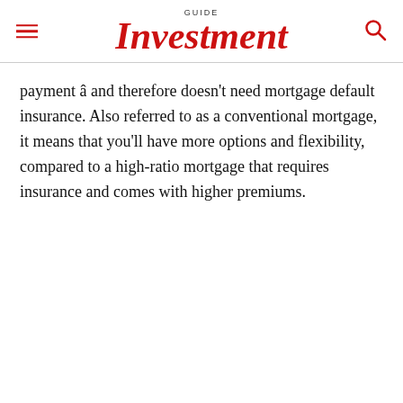GUIDE Investment
payment â and therefore doesn't need mortgage default insurance. Also referred to as a conventional mortgage, it means that you'll have more options and flexibility, compared to a high-ratio mortgage that requires insurance and comes with higher premiums.